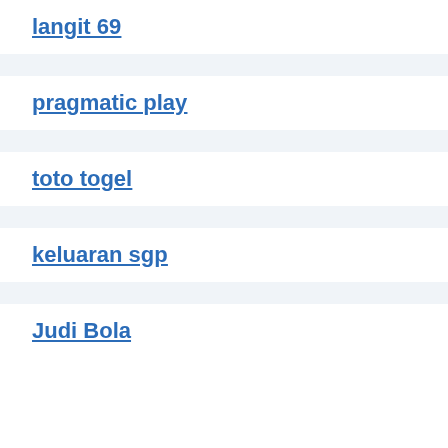langit 69
pragmatic play
toto togel
keluaran sgp
Judi Bola